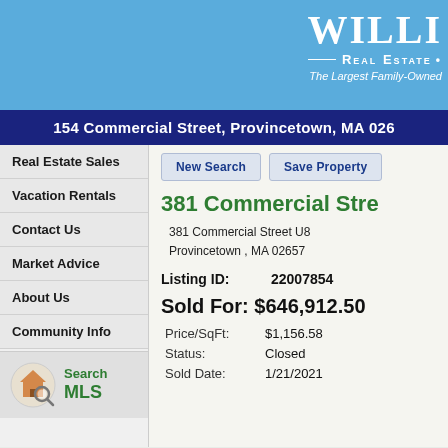[Figure (logo): William Raveis Real Estate logo - partial, cropped. Shows 'WILLI' text, 'REAL ESTATE •' and 'The Largest Family-Owned' tagline on blue background.]
154 Commercial Street, Provincetown, MA 026
Real Estate Sales
Vacation Rentals
Contact Us
Market Advice
About Us
Community Info
[Figure (logo): Search MLS icon with house and magnifying glass logo, green text reading 'Search MLS']
381 Commercial Stre
381 Commercial Street U8
Provincetown , MA 02657
Listing ID:    22007854
Sold For: $646,912.50
Price/SqFt:    $1,156.58
Status:    Closed
Sold Date:    1/21/2021